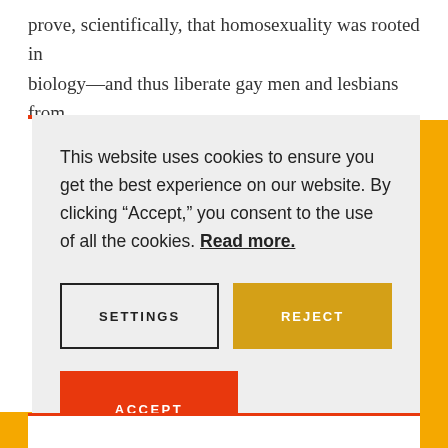prove, scientifically, that homosexuality was rooted in biology—and thus liberate gay men and lesbians from
This website uses cookies to ensure you get the best experience on our website. By clicking “Accept,” you consent to the use of all the cookies. Read more.
SETTINGS
REJECT
ACCEPT